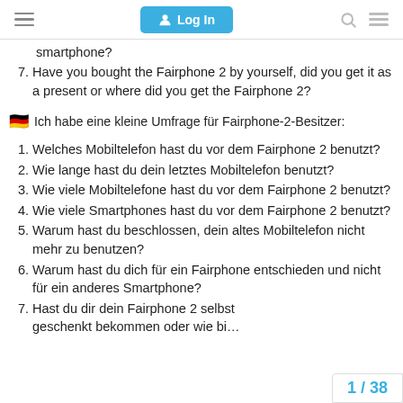Log In
smartphone?
Have you bought the Fairphone 2 by yourself, did you get it as a present or where did you get the Fairphone 2?
🇩🇪 Ich habe eine kleine Umfrage für Fairphone-2-Besitzer:
Welches Mobiltelefon hast du vor dem Fairphone 2 benutzt?
Wie lange hast du dein letztes Mobiltelefon benutzt?
Wie viele Mobiltelefone hast du vor dem Fairphone 2 benutzt?
Wie viele Smartphones hast du vor dem Fairphone 2 benutzt?
Warum hast du beschlossen, dein altes Mobiltelefon nicht mehr zu benutzen?
Warum hast du dich für ein Fairphone entschieden und nicht für ein anderes Smartphone?
Hast du dir dein Fairphone 2 selbst geschenkt bekommen oder wie bi…
1 / 38